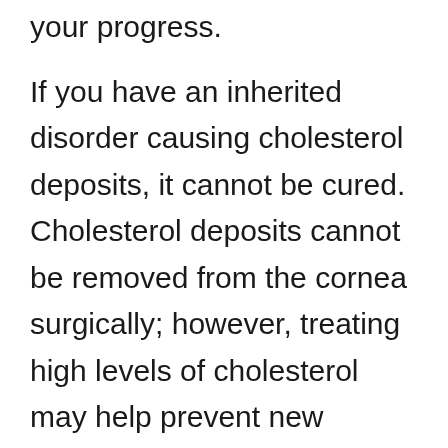your progress.
If you have an inherited disorder causing cholesterol deposits, it cannot be cured. Cholesterol deposits cannot be removed from the cornea surgically; however, treating high levels of cholesterol may help prevent new deposits from forming on your cornea.
Before we end, make sure you do not